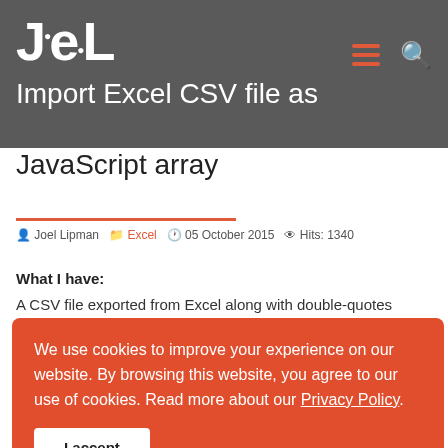JoeL — Import Excel CSV file as JavaScript array
Import Excel CSV file as JavaScript array
Joel Lipman   Excel   05 October 2015   Hits: 1340
What I have:
A CSV file exported from Excel along with double-quotes
[Figure (other): Cookie consent overlay with text: We use cookies to improve your experience on our website. By browsing this website, you agree to our use of cookies. Read more about our Privacy Policy. With an I accept button.]
What I need:
To read the file (stored on the server) and convert to a